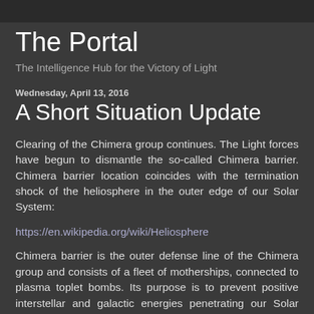The Portal
The Intelligence Hub for the Victory of Light
Wednesday, April 13, 2016
A Short Situation Update
Clearing of the Chimera group continues. The Light forces have begun to dismantle the so-called Chimera barrier. Chimera barrier location coincides with the termination shock of the heliosphere in the outer edge of our Solar System:
https://en.wikipedia.org/wiki/Heliosphere
Chimera barrier is the outer defense line of the Chimera group and consists of a fleet of motherships, connected to plasma toplet bombs. Its purpose is to prevent positive interstellar and galactic energies penetrating our Solar System. It is located just inside the outer barrier (as called by